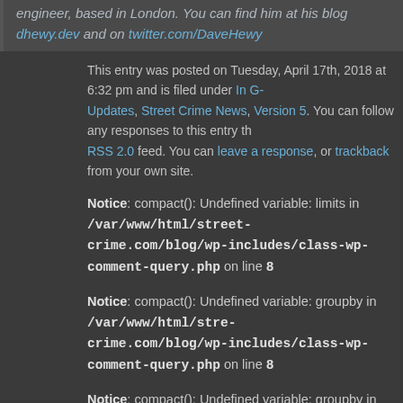engineer, based in London. You can find him at his blog dhewy.dev and on twitter.com/DaveHewy
This entry was posted on Tuesday, April 17th, 2018 at 6:32 pm and is filed under In G- Updates, Street Crime News, Version 5. You can follow any responses to this entry th RSS 2.0 feed. You can leave a response, or trackback from your own site.
Notice: compact(): Undefined variable: limits in /var/www/html/street-crime.com/blog/wp-includes/class-wp-comment-query.php on line 8
Notice: compact(): Undefined variable: groupby in /var/www/html/street-crime.com/blog/wp-includes/class-wp-comment-query.php on line 8
Notice: compact(): Undefined variable: groupby in /var/www/html/street-crime.com/blog/wp-includes/class-wp-comment-query.php on line 8
Warning: count(): Parameter must be an array or an object that implements Countable in /var/www/html/street-crime.com/blog/wp-includes/class-wp-comment-query.php on line 405
Leave a Reply
Deprecated: Function get_magic_quotes_gpc() is deprecated in /var/www/html/street-crime.com/blog/wp-includes/formatting.php on line 3946
Name